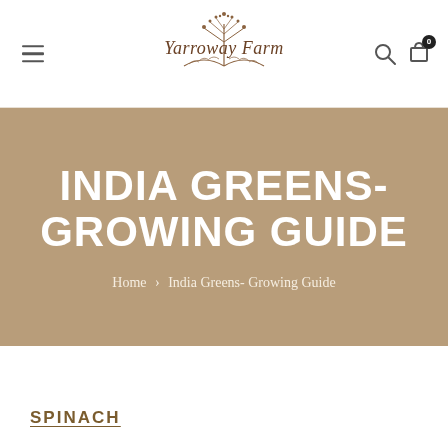[Figure (logo): Yarroway Farm logo with botanical illustration of yarrow plant above cursive/script text 'Yarroway Farm' in brown, with a fern leaf below]
INDIA GREENS- GROWING GUIDE
Home > India Greens- Growing Guide
SPINACH